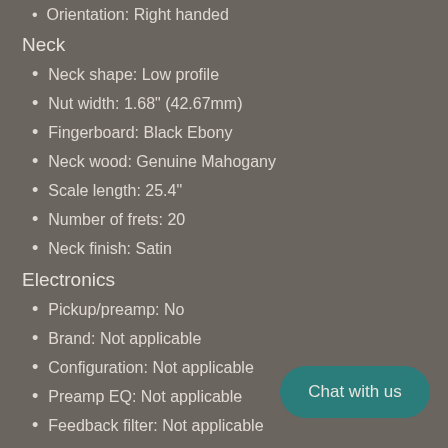Orientation: Right handed
Neck
Neck shape: Low profile
Nut width: 1.68" (42.67mm)
Fingerboard: Black Ebony
Neck wood: Genuine Mahogany
Scale length: 25.4"
Number of frets: 20
Neck finish: Satin
Electronics
Pickup/preamp: No
Brand: Not applicable
Configuration: Not applicable
Preamp EQ: Not applicable
Feedback filter: Not applicable